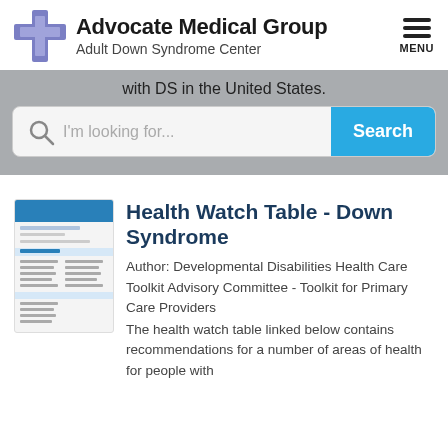Advocate Medical Group - Adult Down Syndrome Center
with DS in the United States.
[Figure (screenshot): Search bar with placeholder text 'I'm looking for...' and a blue Search button]
[Figure (screenshot): Thumbnail image of a Health Watch Table document for Down Syndrome]
Health Watch Table - Down Syndrome
Author: Developmental Disabilities Health Care Toolkit Advisory Committee - Toolkit for Primary Care Providers
The health watch table linked below contains recommendations for a number of areas of health for people with